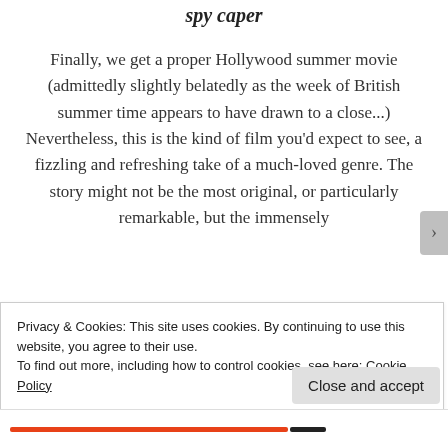spy caper
Finally, we get a proper Hollywood summer movie (admittedly slightly belatedly as the week of British summer time appears to have drawn to a close...) Nevertheless, this is the kind of film you'd expect to see, a fizzling and refreshing take of a much-loved genre. The story might not be the most original, or particularly remarkable, but the immensely
Privacy & Cookies: This site uses cookies. By continuing to use this website, you agree to their use.
To find out more, including how to control cookies, see here: Cookie Policy
Close and accept